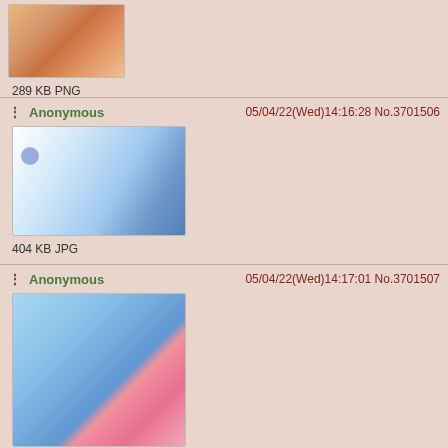[Figure (photo): Partial top of previous post showing anime/cartoon characters, cropped at top]
289 KB PNG
Anonymous  05/04/22(Wed)14:16:28 No.3701506
[Figure (photo): Blue watercolor style illustration, appears to show a blue character or abstract figure]
404 KB JPG
Anonymous  05/04/22(Wed)14:17:01 No.3701507
[Figure (photo): Pink anime character with blue background, hearts, Amy Rose style character]
520 KB JPG
Anonymous  05/04/22(Wed)14:17:35 No.3701508
[Figure (photo): Purple/pink character, partially visible at bottom, appears to be a Sonic character]